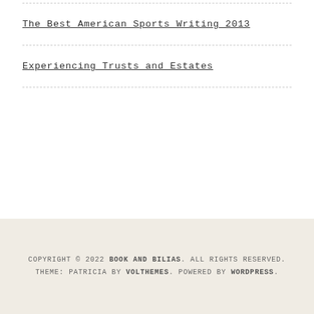The Best American Sports Writing 2013
Experiencing Trusts and Estates
COPYRIGHT © 2022 BOOK AND BILIAS. ALL RIGHTS RESERVED. THEME: PATRICIA BY VOLTHEMES. POWERED BY WORDPRESS.